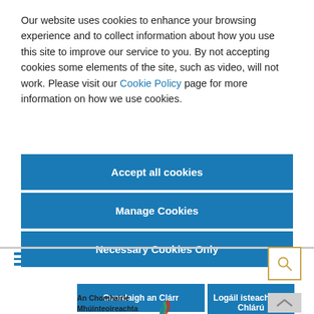Our website uses cookies to enhance your browsing experience and to collect information about how you use this site to improve our service to you. By not accepting cookies some elements of the site, such as video, will not work. Please visit our Cookie Policy page for more information on how we use cookies.
Accept all cookies
Manage Cookies
Necessary Cookies Only
English
[Figure (other): Search icon button with gold/yellow border]
Cuardaigh an Clárr
Logáil isteach / Mo Chlárú
[Figure (logo): An Chomhairle Mhúinteoireachta / The Teaching Council logo with stylized feather/leaf graphic in green and red]
[Figure (other): Scroll to top button arrow]